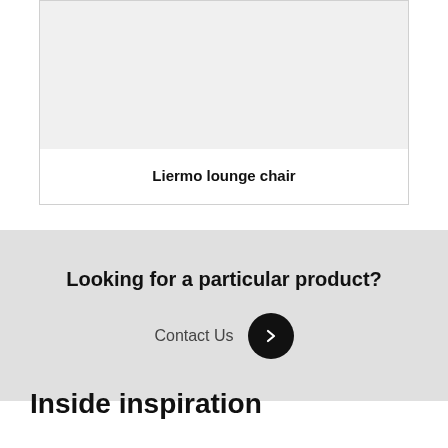[Figure (photo): Light gray placeholder image area for Liermo lounge chair product photo]
Liermo lounge chair
Looking for a particular product?
Contact Us →
Inside inspiration